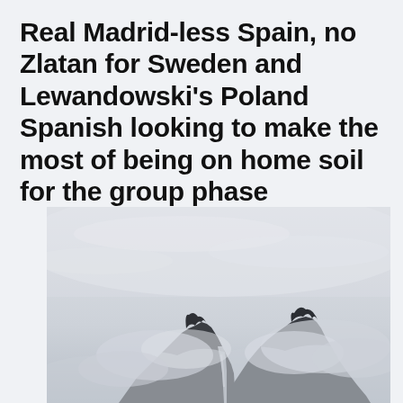Real Madrid-less Spain, no Zlatan for Sweden and Lewandowski's Poland Spanish looking to make the most of being on home soil for the group phase
[Figure (photo): A misty mountain landscape in black and white / grayscale tones, showing two rocky mountain peaks partially obscured by low clouds and fog. The scene has a moody, atmospheric quality with heavy cloud cover.]